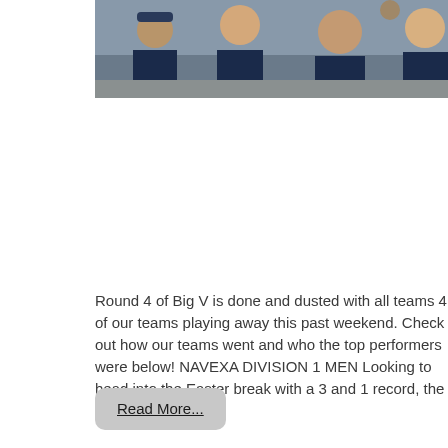[Figure (photo): Photo of basketball players sitting together in a gymnasium, wearing dark blue uniforms, viewed from the side.]
Round 4 of Big V is done and dusted with all teams 4 of our teams playing away this past weekend. Check out how our teams went and who the top performers were below! NAVEXA DIVISION 1 MEN Looking to head into the Easter break with a 3 and 1 record, the Division 1 Men [...]
Read More...